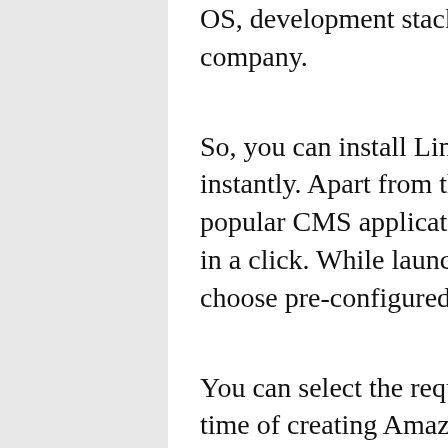OS, development stack and application for your company.
So, you can install Linux/Unix/Windows OS instantly. Apart from that, bloggers can install popular CMS applications like WordPress & Joomla in a click. While launching instance you just need to choose pre-configured applications to install.
You can select the required OS and application at the time of creating Amazon Lightsail instance itself. Further